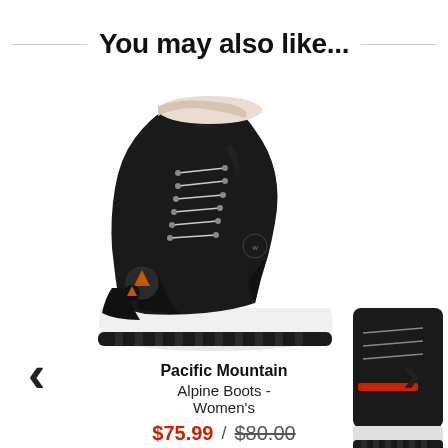You may also like...
[Figure (photo): Black women's hiking boot (Pacific Mountain Alpine Boot) facing left with white sole, black laces, and orange logo detail, photographed on white background]
[Figure (photo): Partial view of a second hiking boot visible at the right edge of the carousel, black with red detail and white sole]
Pacific Mountain
Alpine Boots - Women's
$75.99 / $80.00